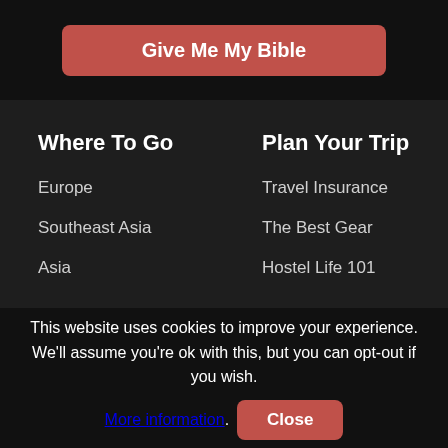[Figure (screenshot): Button labeled 'Give Me My Bible' with red/pink background]
Where To Go
Plan Your Trip
Europe
Travel Insurance
Southeast Asia
The Best Gear
Asia
Hostel Life 101
This website uses cookies to improve your experience. We'll assume you're ok with this, but you can opt-out if you wish. More information. Close